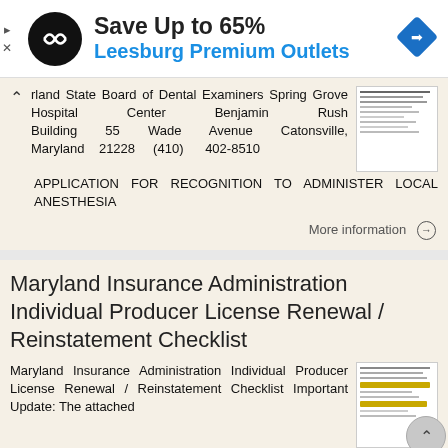[Figure (infographic): Advertisement banner: Save Up to 65% Leesburg Premium Outlets with logo and map direction icon]
ryland State Board of Dental Examiners Spring Grove Hospital Center Benjamin Rush Building 55 Wade Avenue Catonsville, Maryland 21228 (410) 402-8510 APPLICATION FOR RECOGNITION TO ADMINISTER LOCAL ANESTHESIA
More information →
Maryland Insurance Administration Individual Producer License Renewal / Reinstatement Checklist
Maryland Insurance Administration Individual Producer License Renewal / Reinstatement Checklist Important Update: The attached